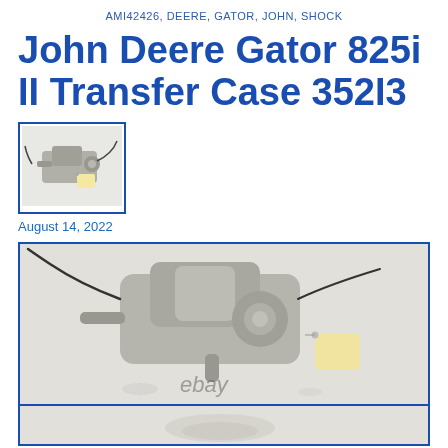AMI42426, DEERE, GATOR, JOHN, SHOCK
John Deere Gator 825i II Transfer Case 352I3
[Figure (photo): Small thumbnail photo of a John Deere Gator transfer case part on white background, shown with a cable attached]
August 14, 2022
[Figure (photo): eBay product photo of a John Deere Gator 825i II Transfer Case 352I3, showing a metal gear/transfer case component with a cable, on a white surface, with a yellow hang tag visible and 'ebay' watermark]
[Figure (photo): Second eBay product photo of the same transfer case, partially visible at bottom of page]